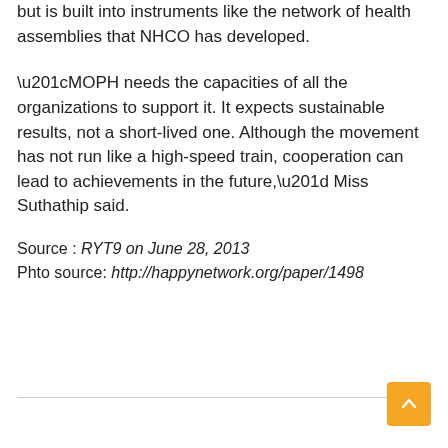but is built into instruments like the network of health assemblies that NHCO has developed.
“MOPH needs the capacities of all the organizations to support it. It expects sustainable results, not a short-lived one. Although the movement has not run like a high-speed train, cooperation can lead to achievements in the future,” Miss Suthathip said.
Source : RYT9 on June 28, 2013
Phto source: http://happynetwork.org/paper/1498